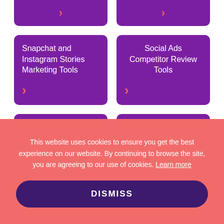[Figure (screenshot): Two purple card buttons at the top with orange chevron arrows, partially visible]
Snapchat and Instagram Stories Marketing Tools
Social Ads Competitor Review Tools
Social Media Aggregator Tools
Social Media Management Platforms
This website uses cookies to ensure you get the best experience on our website. By continuing to browse the site, you are agreeing to our use of cookies. Learn more
DISMISS